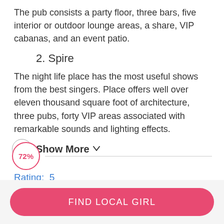The pub consists a party floor, three bars, five interior or outdoor lounge areas, a share, VIP cabanas, and an event patio.
2. Spire
The night life place has the most useful shows from the best singers. Place offers well over eleven thousand square foot of architecture, three pubs, forty VIP areas associated with remarkable sounds and lighting effects.
Show More ˅
72%
Rating:  5
FIND LOCAL GIRL